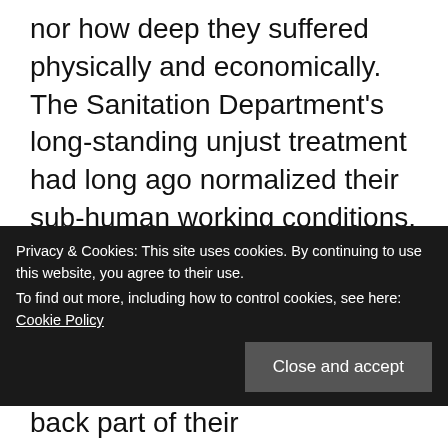nor how deep they suffered physically and economically. The Sanitation Department's long-standing unjust treatment had long ago normalized their sub-human working conditions. Substandard was just the way the city government treated many of their black employees. The Memphis City administration paid the Sanitation workers, our Fire, Police Officers, and School teachers a lower salary and wages than other nearby large cities. In the middle 1930s, Mayor Boss Crump had removed “Civil Service” and put in the Crump “Merit System.” If you were a City
Privacy & Cookies: This site uses cookies. By continuing to use this website, you agree to their use. To find out more, including how to control cookies, see here: Cookie Policy
Close and accept
Employees, and Teachers pay back part of their